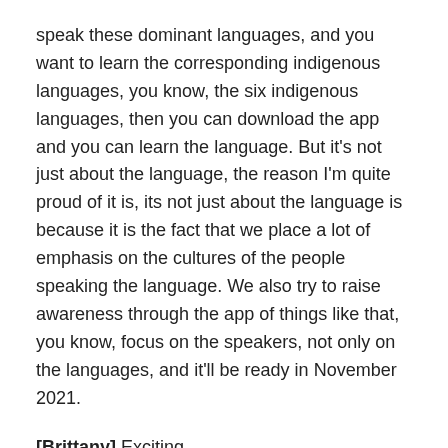speak these dominant languages, and you want to learn the corresponding indigenous languages, you know, the six indigenous languages, then you can download the app and you can learn the language. But it's not just about the language, the reason I'm quite proud of it is, its not just about the language is because it is the fact that we place a lot of emphasis on the cultures of the people speaking the language. We also try to raise awareness through the app of things like that, you know, focus on the speakers, not only on the languages, and it'll be ready in November 2021.
[Brittany] Exciting.
[Katerina] Watch, watch this space.